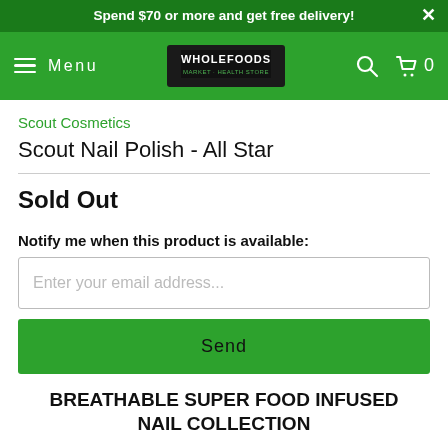Spend $70 or more and get free delivery!
[Figure (screenshot): Whole Foods Market logo in navigation bar]
Scout Cosmetics
Scout Nail Polish - All Star
Sold Out
Notify me when this product is available:
Enter your email address...
Send
BREATHABLE SUPER FOOD INFUSED NAIL COLLECTION
Our innovative, breathable and water